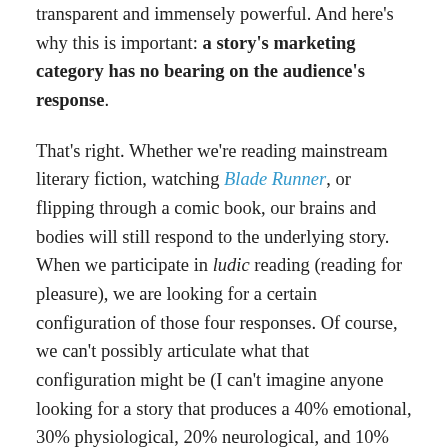transparent and immensely powerful. And here's why this is important: a story's marketing category has no bearing on the audience's response.
That's right. Whether we're reading mainstream literary fiction, watching Blade Runner, or flipping through a comic book, our brains and bodies will still respond to the underlying story. When we participate in ludic reading (reading for pleasure), we are looking for a certain configuration of those four responses. Of course, we can't possibly articulate what that configuration might be (I can't imagine anyone looking for a story that produces a 40% emotional, 30% physiological, 20% neurological, and 10% rational responses). And the components of those configurations are likely to have fairly fuzzy borders, because they are greatly affected by our state of mind/body at the time of the experience. But when we